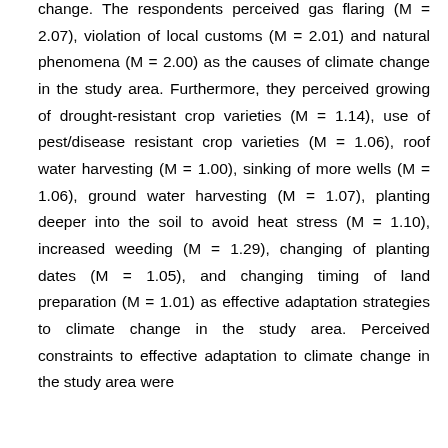change. The respondents perceived gas flaring (M = 2.07), violation of local customs (M = 2.01) and natural phenomena (M = 2.00) as the causes of climate change in the study area. Furthermore, they perceived growing of drought-resistant crop varieties (M = 1.14), use of pest/disease resistant crop varieties (M = 1.06), roof water harvesting (M = 1.00), sinking of more wells (M = 1.06), ground water harvesting (M = 1.07), planting deeper into the soil to avoid heat stress (M = 1.10), increased weeding (M = 1.29), changing of planting dates (M = 1.05), and changing timing of land preparation (M = 1.01) as effective adaptation strategies to climate change in the study area. Perceived constraints to effective adaptation to climate change in the study area were